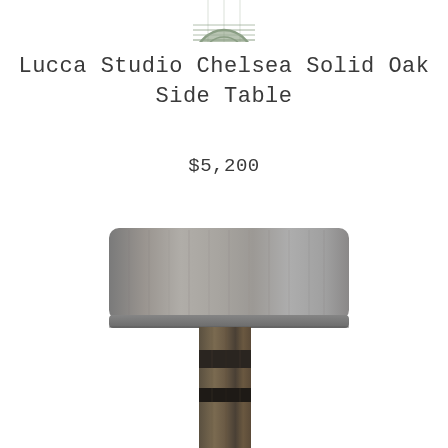[Figure (photo): Partial top view of a woven/textured circular object, cropped at the top of the page.]
Lucca Studio Chelsea Solid Oak Side Table
$5,200
[Figure (photo): A Lucca Studio Chelsea Solid Oak Side Table with a wide rectangular grey-stained oak top and a dark wooden pedestal base, photographed against a white background.]